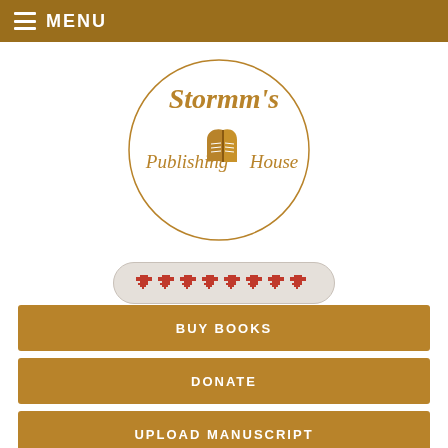MENU
[Figure (logo): Stormm's Publishing House logo — circular golden script text with an open book icon in the center]
[Figure (infographic): A row of 8 red pixel-art heart icons inside a rounded gray button]
BUY BOOKS
DONATE
UPLOAD MANUSCRIPT
[Figure (photo): Blurred background photo of stacked books on shelves with golden-brown overlay and italic white text partially visible at bottom]